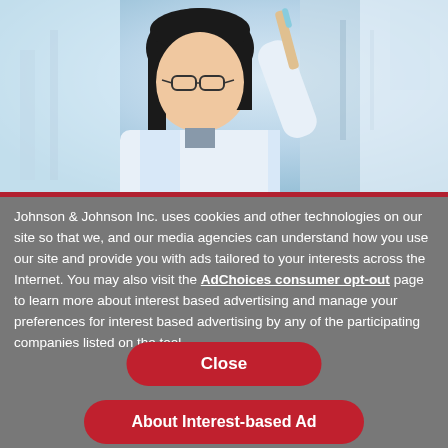[Figure (photo): A woman in a lab coat and glasses looking at something, holding a scientific instrument, in a laboratory setting with blurred background.]
Johnson & Johnson Inc. uses cookies and other technologies on our site so that we, and our media agencies can understand how you use our site and provide you with ads tailored to your interests across the Internet. You may also visit the AdChoices consumer opt-out page to learn more about interest based advertising and manage your preferences for interest based advertising by any of the participating companies listed on the tool.
Close
About Interest-based Ad